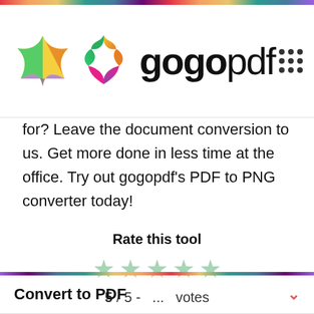[Figure (logo): gogopdf logo with colorful star/arrow icon and gogopdf text, plus a grid of 9 dots icon on the right]
for? Leave the document conversion to us. Get more done in less time at the office. Try out gogopdf's PDF to PNG converter today!
Rate this tool
[Figure (illustration): 5 green star icons for rating]
5 / 5 -   ...   votes
Convert to PDF